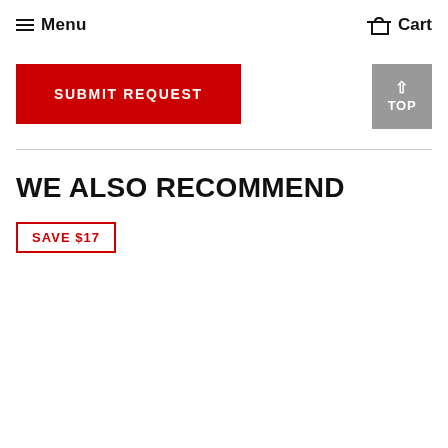Menu   Cart
SUBMIT REQUEST
WE ALSO RECOMMEND
SAVE $17